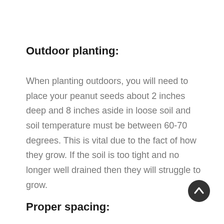Outdoor planting:
When planting outdoors, you will need to place your peanut seeds about 2 inches deep and 8 inches aside in loose soil and soil temperature must be between 60-70 degrees. This is vital due to the fact of how they grow. If the soil is too tight and no longer well drained then they will struggle to grow.
Proper spacing: